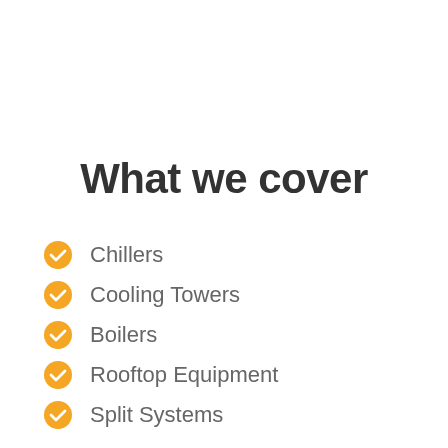What we cover
Chillers
Cooling Towers
Boilers
Rooftop Equipment
Split Systems
Hydronic Systems